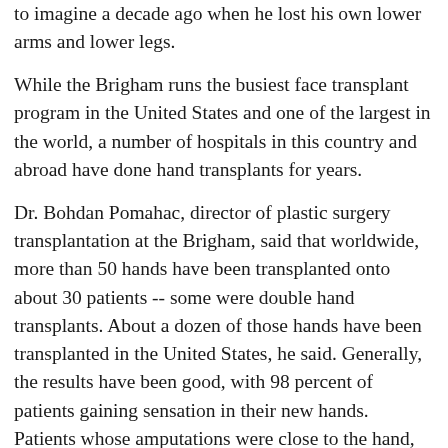to imagine a decade ago when he lost his own lower arms and lower legs.
While the Brigham runs the busiest face transplant program in the United States and one of the largest in the world, a number of hospitals in this country and abroad have done hand transplants for years.
Dr. Bohdan Pomahac, director of plastic surgery transplantation at the Brigham, said that worldwide, more than 50 hands have been transplanted onto about 30 patients -- some were double hand transplants. About a dozen of those hands have been transplanted in the United States, he said. Generally, the results have been good, with 98 percent of patients gaining sensation in their new hands. Patients whose amputations were close to the hand, rather than farther up the arm have the best outcomes and often are able to move their new hands and grasp objects.